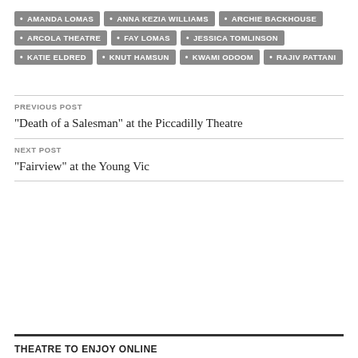AMANDA LOMAS
ANNA KEZIA WILLIAMS
ARCHIE BACKHOUSE
ARCOLA THEATRE
FAY LOMAS
JESSICA TOMLINSON
KATIE ELDRED
KNUT HAMSUN
KWAMI ODOOM
RAJIV PATTANI
PREVIOUS POST
"Death of a Salesman" at the Piccadilly Theatre
NEXT POST
"Fairview" at the Young Vic
THEATRE TO ENJOY ONLINE